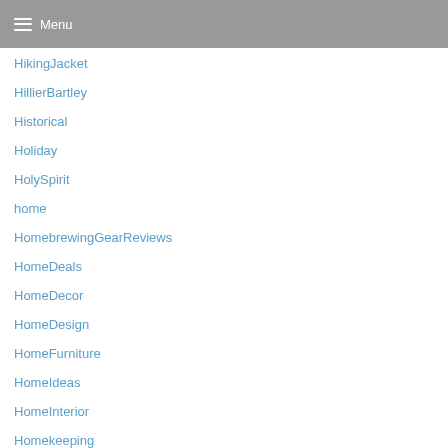Menu
HikingJacket
HillierBartley
Historical
Holiday
HolySpirit
home
HomebrewingGearReviews
HomeDeals
HomeDecor
HomeDesign
HomeFurniture
HomeIdeas
HomeInterior
Homekeeping
HomeLife
HomeOffices
HomeownerTips